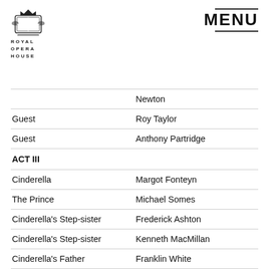[Figure (logo): Royal Opera House coat of arms logo with text ROYAL OPERA HOUSE]
MENU
| Role | Performer |
| --- | --- |
|  | Newton |
| Guest | Roy Taylor |
| Guest | Anthony Partridge |
| ACT III |  |
| Cinderella | Margot Fonteyn |
| The Prince | Michael Somes |
| Cinderella's Step-sister | Frederick Ashton |
| Cinderella's Step-sister | Kenneth MacMillan |
| Cinderella's Father | Franklin White |
| The Fairy Godmother | Julia Farron |